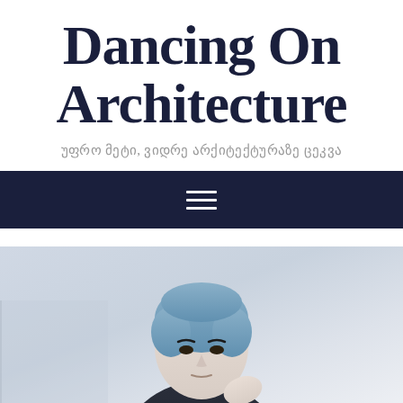Dancing On Architecture
უფრო მეტი, ვიდრე არქიტექტურაზე ცეკვა
[Figure (other): Dark navy navigation bar with hamburger menu icon (three horizontal white lines)]
[Figure (photo): Photo of a person with blue dyed short hair, pale skin, wearing dark clothing, looking forward against a light grey/white background]